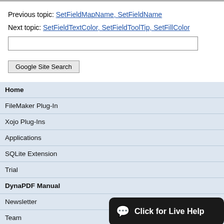Previous topic: SetFieldMapName, SetFieldName
Next topic: SetFieldTextColor, SetFieldToolTip, SetFillColor
Google Site Search
Home
FileMaker Plug-In
Xojo Plug-Ins
Applications
SQLite Extension
Trial
DynaPDF Manual
Newsletter
Team
Services
Click for Live Help